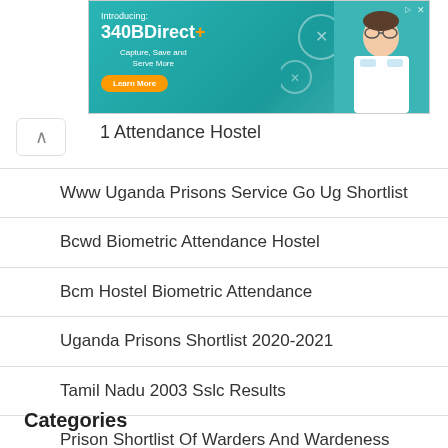[Figure (screenshot): Advertisement banner for 340BDirect+ product. Teal background with text 'Introducing: 340BDirect+', 'Capture, Save and Serve More', orange 'Learn More' button, decorative circles, and photo of a person in white coat.]
1 Attendance Hostel
Www Uganda Prisons Service Go Ug Shortlist
Bcwd Biometric Attendance Hostel
Bcm Hostel Biometric Attendance
Uganda Prisons Shortlist 2020-2021
Tamil Nadu 2003 Sslc Results
Prison Shortlist Of Warders And Wardeness
Categories